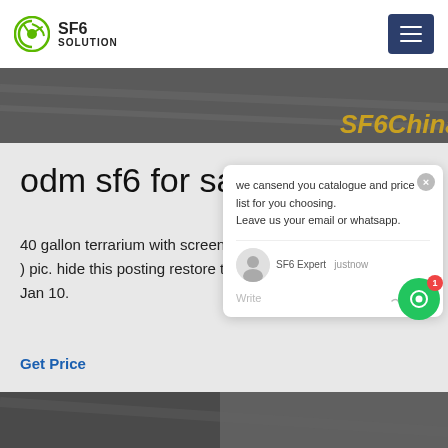SF6 SOLUTION
odm sf6 for sale Chile
40 gallon terrarium with screen lid $  ( New Braunfels ) pic. hide this posting restore this posting. favorite this post. Jan 10.
Get Price
we cansend you catalogue and price list for you choosing.
Leave us your email or whatsapp.
SF6 Expert   justnow
Write